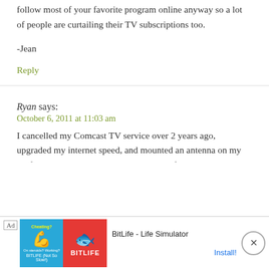follow most of your favorite program online anyway so a lot of people are curtailing their TV subscriptions too.
-Jean
Reply
Ryan says:
October 6, 2011 at 11:03 am
I cancelled my Comcast TV service over 2 years ago, upgraded my internet speed, and mounted an antenna on my roof to pull in all the network channels in full High
[Figure (screenshot): Advertisement banner for BitLife - Life Simulator app with Ad label, colorful app icon showing muscular arm and sperm cell logo on blue/red background, app name text, and Install! button]